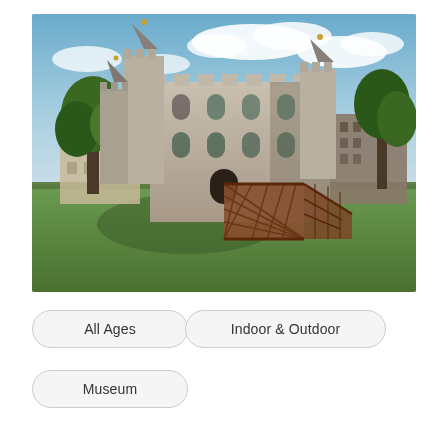[Figure (photo): Photograph of the White Tower at the Tower of London. A large medieval stone castle with battlements and four corner turrets topped with onion-shaped cupolas. A wooden lattice staircase leads to the entrance. Green lawn in the foreground, trees on either side, city buildings in the background, and a partly cloudy blue sky above.]
All Ages
Indoor & Outdoor
Museum